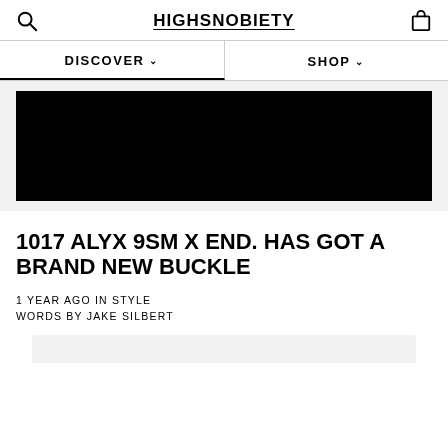HIGHSNOBIETY
DISCOVER
SHOP
[Figure (photo): Black hero image banner for article about 1017 ALYX 9SM x END. collaboration]
1017 ALYX 9SM X END. HAS GOT A BRAND NEW BUCKLE
1 YEAR AGO IN STYLE
WORDS BY JAKE SILBERT